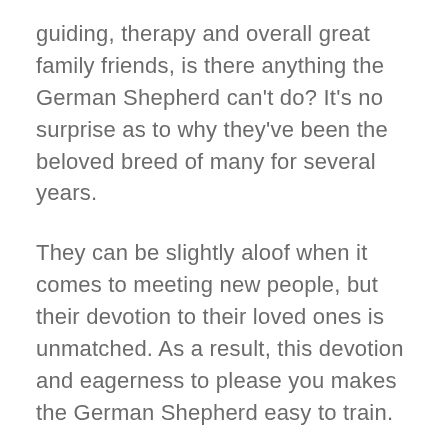guiding, therapy and overall great family friends, is there anything the German Shepherd can't do? It's no surprise as to why they've been the beloved breed of many for several years.
They can be slightly aloof when it comes to meeting new people, but their devotion to their loved ones is unmatched. As a result, this devotion and eagerness to please you makes the German Shepherd easy to train.
You can probably teach them just about anything, they thrive on learning and having something to do. Do you ever think, 'it'd be great if someone could run upstairs and bring my slippers down' or 'if only there was someone to